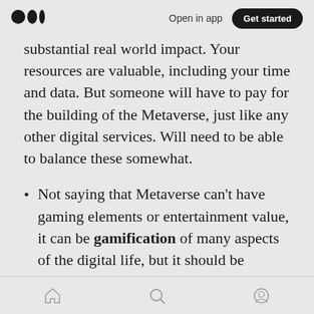Open in app | Get started
substantial real world impact. Your resources are valuable, including your time and data. But someone will have to pay for the building of the Metaverse, just like any other digital services. Will need to be able to balance these somewhat.
Not saying that Metaverse can't have gaming elements or entertainment value, it can be gamification of many aspects of the digital life, but it should be aiming at closer to bringing tangible values to your real life in the physical world. How about making